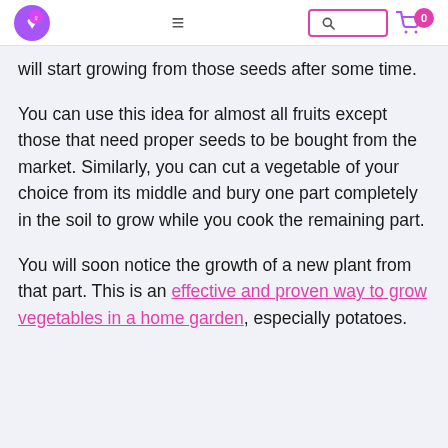[logo] [hamburger menu] [search box] [cart icon with 0]
will start growing from those seeds after some time.
You can use this idea for almost all fruits except those that need proper seeds to be bought from the market. Similarly, you can cut a vegetable of your choice from its middle and bury one part completely in the soil to grow while you cook the remaining part.
You will soon notice the growth of a new plant from that part. This is an effective and proven way to grow vegetables in a home garden, especially potatoes.